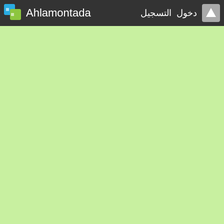Ahlamontada  التسجيل  دخول
[Figure (other): Light green background content area]